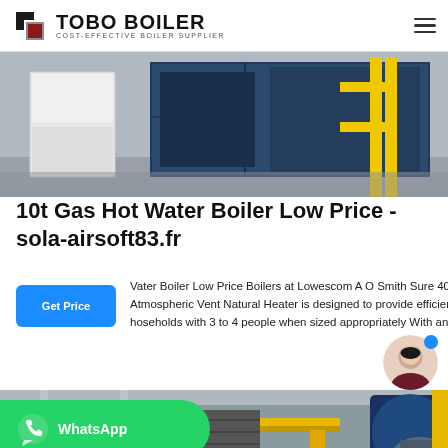TOBO BOILER - COST-EFFECTIVE BOILER SUPPLIER
[Figure (photo): Industrial boiler room showing white and dark blue boiler units with yellow scaffolding structures in a facility]
10t Gas Hot Water Boiler Low Price - sola-airsoft83.fr
Water Boiler Low Price Boilers at Lowescom A O Smith Sure 40-Gallon Short NOx Atmospheric Vent Natural Heater is designed to provide efficient and reliable for households with 3 to 4 people when sized appropriately With an...
[Figure (photo): Industrial boiler installation with yellow pipes, blue boiler units, staircase, and large valve assemblies]
[Figure (logo): WhatsApp logo and text on green background bar]